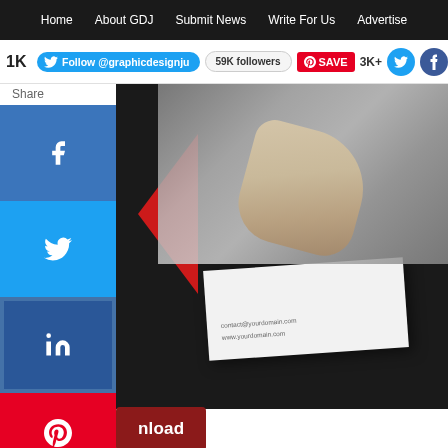Home | About GDJ | Submit News | Write For Us | Advertise
[Figure (screenshot): Social media follow bar with Twitter follow button showing @graphicdesignju, 59K followers badge, Pinterest SAVE button, 3K+ count, and social icons (Twitter, Facebook, Instagram, RSS)]
[Figure (photo): Hero image showing a white folded business card on dark background with contact@yourdomain.com and www.yourdomain.com text, with a red geometric element and a hand holding something in the top right]
[Figure (screenshot): Left sidebar with social share buttons: Share label, Facebook button, Twitter button, LinkedIn button, Pinterest button, and a plus (+) button]
[Figure (infographic): Dark red Download button]
rochure Design
[Figure (photo): Bottom preview image showing two brochure designs - left with teal/green geometric triangles, right with dark architectural photo]